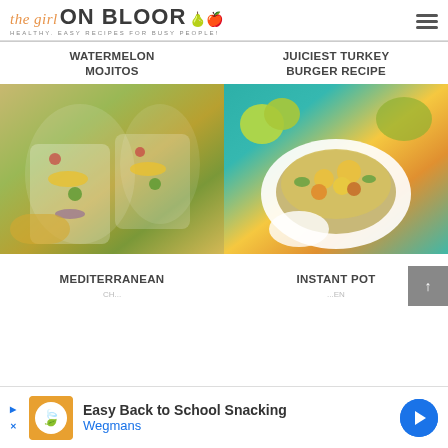[Figure (logo): The Girl on Bloor logo with script and bold text, pear icon, tagline: HEALTHY. EASY RECIPES FOR BUSY PEOPLE!]
WATERMELON MOJITOS
[Figure (photo): Mason jars filled with colorful salad - corn, peppers, avocado, red onion on marble surface]
JUICIEST TURKEY BURGER RECIPE
[Figure (photo): White bowl with turkey burger topped with mango salsa, avocado, peppers and lime on teal background]
MEDITERRANEAN
INSTANT POT
[Figure (screenshot): Ad banner: Easy Back to School Snacking - Wegmans with orange logo and blue arrow button]